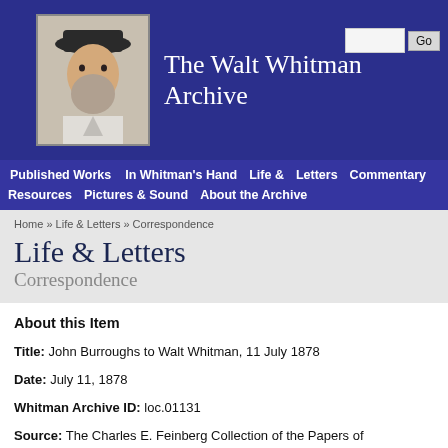The Walt Whitman Archive
Published Works | In Whitman's Hand | Life & Letters | Commentary | Resources | Pictures & Sound | About the Archive
Home » Life & Letters » Correspondence
Life & Letters
Correspondence
About this Item
Title: John Burroughs to Walt Whitman, 11 July 1878
Date: July 11, 1878
Whitman Archive ID: loc.01131
Source: The Charles E. Feinberg Collection of the Papers of